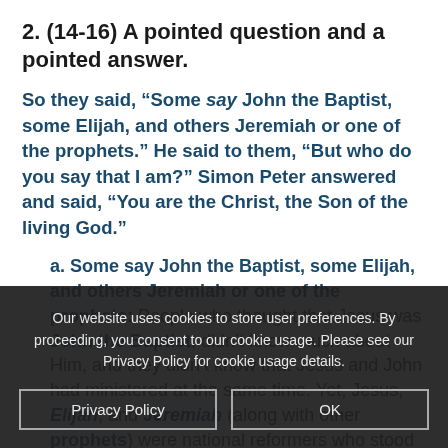2. (14-16) A pointed question and a pointed answer.
So they said, “Some say John the Baptist, some Elijah, and others Jeremiah or one of the prophets.” He said to them, “But who do you say that I am?” Simon Peter answered and said, “You are the Christ, the Son of the living God.”
a. Some say John the Baptist, some Elijah, and others Jeremiah or one of the prophets: People who thought that Jesus was John the Baptist, didn’t know much about Him, and they didn’t know that Jesus and John had ministered at the same time. Yet, Jesus, Elijah, and Jeremiah (along with other prophets) were national reformers who stood up against the corrupt rulers of their day.
Our website uses cookies to store user preferences. By proceeding, you consent to our cookie usage. Please see our Privacy Policy for cookie usage details.